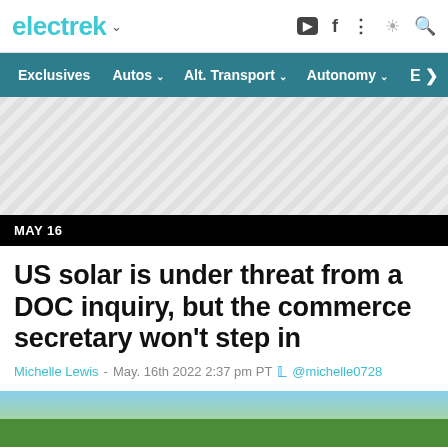electrek
Exclusives  Autos  Alt. Transport  Autonomy  E>
[Figure (other): Advertisement placeholder area with diagonal stripe pattern]
MAY 16
US solar is under threat from a DOC inquiry, but the commerce secretary won't step in
Michelle Lewis - May. 16th 2022 2:37 pm PT @michelle0728
[Figure (photo): Bottom strip of outdoor scene with green field and blue sky]